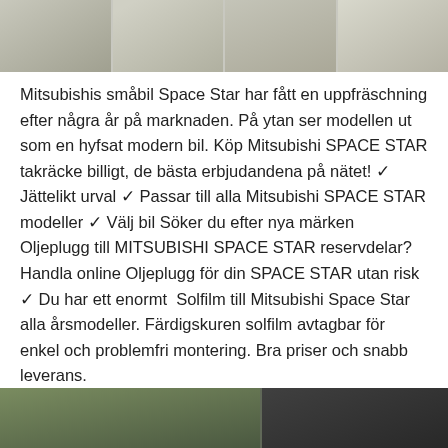[Figure (photo): Aerial or overhead photo of what appears to be rooftops or flat surfaces, shown in multiple segments side by side.]
Mitsubishis småbil Space Star har fått en uppfräschning efter några år på marknaden. På ytan ser modellen ut som en hyfsat modern bil. Köp Mitsubishi SPACE STAR takräcke billigt, de bästa erbjudandena på nätet! ✓ Jättelikt urval ✓ Passar till alla Mitsubishi SPACE STAR modeller ✓ Välj bil Söker du efter nya märken Oljeplugg till MITSUBISHI SPACE STAR reservdelar? Handla online Oljeplugg för din SPACE STAR utan risk ✓ Du har ett enormt  Solfilm till Mitsubishi Space Star alla årsmodeller. Färdigskuren solfilm avtagbar för enkel och problemfri montering. Bra priser och snabb leverans.
[Figure (photo): Bottom portion of a photo showing greenery/leaves on the left and a dark-clothed figure on the right.]